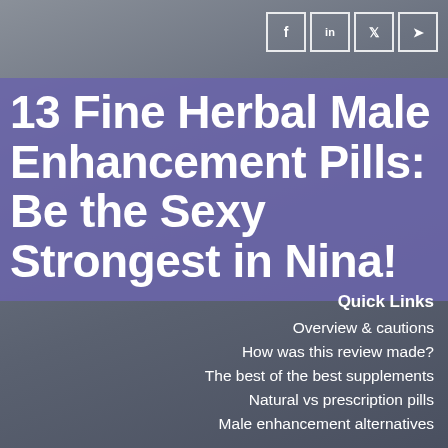[Figure (photo): Background photo of people on a beach, with a gray/muted overlay. Social media share icons (Facebook, LinkedIn, Twitter, Telegram) in top right corner.]
13 Fine Herbal Male Enhancement Pills: Be the Sexy Strongest in Nina!
Quick Links
Overview & cautions
How was this review made?
The best of the best supplements
Natural vs prescription pills
Male enhancement alternatives